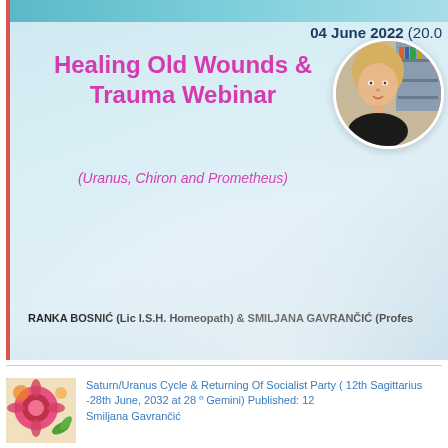Healing Old Wounds & Trauma Webinar
(Uranus, Chiron and Prometheus)
04 June 2022 (20.0
[Figure (photo): Circular portrait photo of a woman with blonde hair]
RANKA BOSNIĆ (Lic I.S.H. Homeopath) & SMILJANA GAVRANČIĆ (Profes
[Figure (illustration): Thumbnail image with colorful floral/rose design in pink, orange, and green]
Saturn/Uranus Cycle & Returning Of Socialist Party ( 12th Sagittarius -28th June, 2032 at 28 º Gemini) Published: 12
Smiljana Gavrančić